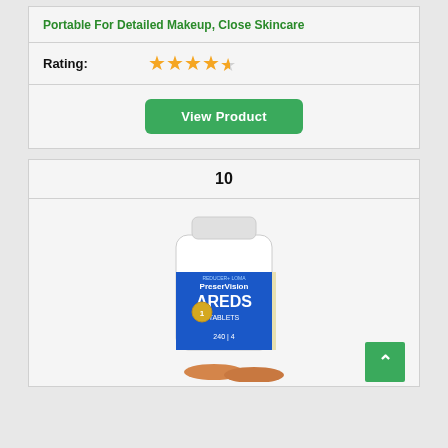Portable For Detailed Makeup, Close Skincare
Rating: ★★★★½
View Product
10
[Figure (photo): Product photo of PreserVision AREDS Tablets bottle (240 tablets, 4 month supply) with two tablets placed in front]